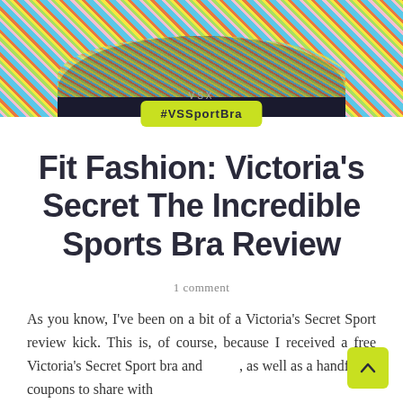[Figure (photo): Photo of a Victoria's Secret VSX floral patterned sports bra on a beige/tan surface. The bra has a black band and a colorful floral print in blue, yellow, pink, and green. The VSX logo is visible on the center of the band.]
#VSSportBra
Fit Fashion: Victoria's Secret The Incredible Sports Bra Review
1 comment
As you know, I've been on a bit of a Victoria's Secret Sport review kick. This is, of course, because I received a free Victoria's Secret Sport bra and [goods], as well as a handful of coupons to share with [readers], [and more from there].